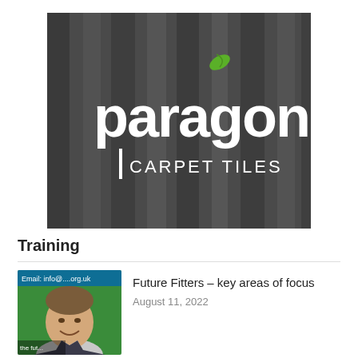[Figure (logo): Paragon Carpet Tiles logo — white text on dark grey striped background with a green leaf accent above the 'o' in paragon]
Training
[Figure (photo): Headshot of a man smiling, wearing a suit, with green background and text overlay reading 'Email: info@...']
Future Fitters – key areas of focus
August 11, 2022